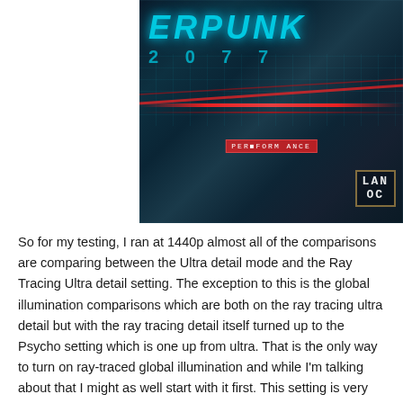[Figure (screenshot): Cyberpunk 2077 game screenshot showing the game logo in teal/cyan stylized text, the year 2077, a red diagonal light streak across a dark futuristic interface, a red HUD element reading 'PER FORM ANCE', and a 'LAN OC' label in the bottom right corner against a dark blue-green background.]
So for my testing, I ran at 1440p almost all of the comparisons are comparing between the Ultra detail mode and the Ray Tracing Ultra detail setting. The exception to this is the global illumination comparisons which are both on the ray tracing ultra detail but with the ray tracing detail itself turned up to the Psycho setting which is one up from ultra. That is the only way to turn on ray-traced global illumination and while I'm talking about that I might as well start with it first. This setting is very demanding and frankly is the most subtle which is why they don't include it on the normal ray-traced high detail setting. This works with the ambient occlusion (that I will talk about shortly) to change the overall lighting. This bounces light off of game elements and up on to other objects. This